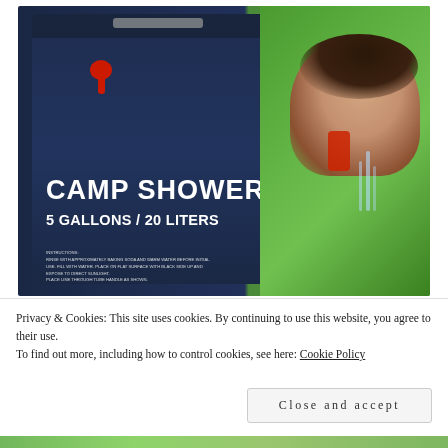[Figure (photo): Product photo of a dark navy blue Camp Shower bag (5 Gallons / 20 Liters) with a red valve/nozzle fitting at top, white bold text 'CAMP SHOWER' and '5 GALLONS / 20 LITERS' on the bag, with a woman showering outdoors in a green tropical background on the right side.]
Privacy & Cookies: This site uses cookies. By continuing to use this website, you agree to their use.
To find out more, including how to control cookies, see here: Cookie Policy
Close and accept